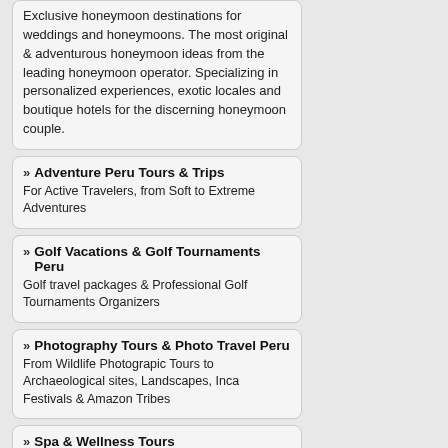Exclusive honeymoon destinations for weddings and honeymoons. The most original & adventurous honeymoon ideas from the leading honeymoon operator. Specializing in personalized experiences, exotic locales and boutique hotels for the discerning honeymoon couple.
» Adventure Peru Tours & Trips — For Active Travelers, from Soft to Extreme Adventures
» Golf Vacations & Golf Tournaments Peru — Golf travel packages & Professional Golf Tournaments Organizers
» Photography Tours & Photo Travel Peru — From Wildlife Photograpic Tours to Archaeological sites, Landscapes, Inca Festivals & Amazon Tribes
» Spa & Wellness Tours — The bes travel ideas for spa travel, wellness, and health include yoga retreats, Hollywood-style indulgence, relax and enjoy, you deserve it.
» Yoga Tours & Self Balance Tours — Daily Yoga and Meditation. Best yoga retreats, and visit the Peru highlights. Taste all that Peru has to offer… Yoga Retreats to mystical destinations.